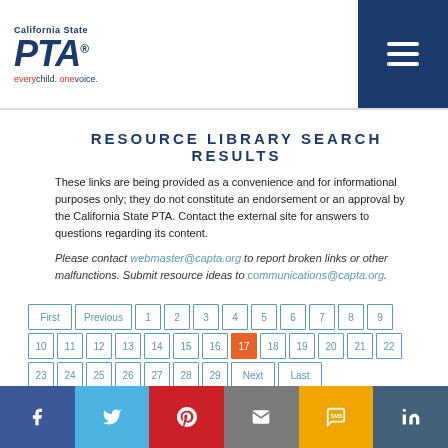California State PTA — every child. one voice.
RESOURCE LIBRARY SEARCH RESULTS
These links are being provided as a convenience and for informational purposes only; they do not constitute an endorsement or an approval by the California State PTA. Contact the external site for answers to questions regarding its content.
Please contact webmaster@capta.org to report broken links or other malfunctions. Submit resource ideas to communications@capta.org.
Pagination: First, Previous, 1, 2, 3, 4, 5, 6, 7, 8, 9, 10, 11, 12, 13, 14, 15, 16, 17 (active), 18, 19, 20, 21, 22, 23, 24, 25, 26, 27, 28, 29, Next, Last
Social: Facebook, Twitter, Pinterest, Email, SMS, LinkedIn